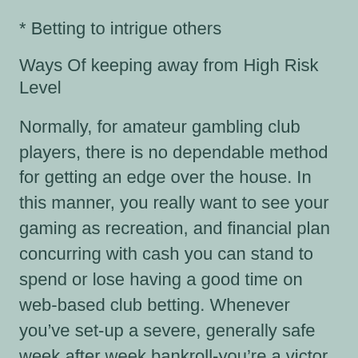* Betting to intrigue others
Ways Of keeping away from High Risk Level
Normally, for amateur gambling club players, there is no dependable method for getting an edge over the house. In this manner, you really want to see your gaming as recreation, and financial plan concurring with cash you can stand to spend or lose having a good time on web-based club betting. Whenever you’ve set-up a severe, generally safe week after week bankroll-you’re a victor whatever the result of your club meetings.